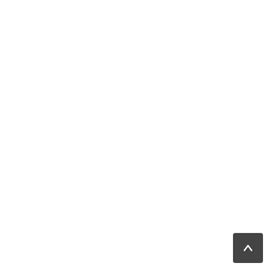his resp to your post Brian but there is a little more that can be adde